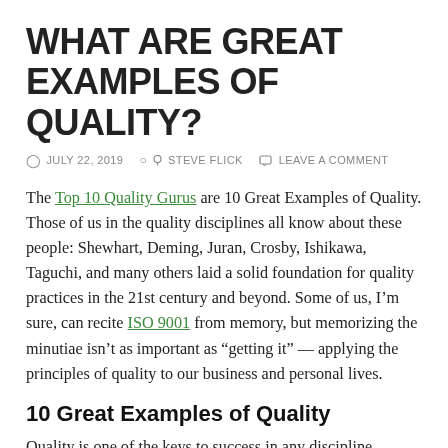WHAT ARE GREAT EXAMPLES OF QUALITY?
JULY 22, 2019  STEVE FLICK  LEAVE A COMMENT
The Top 10 Quality Gurus are 10 Great Examples of Quality. Those of us in the quality disciplines all know about these people: Shewhart, Deming, Juran, Crosby, Ishikawa, Taguchi, and many others laid a solid foundation for quality practices in the 21st century and beyond. Some of us, I’m sure, can recite ISO 9001 from memory, but memorizing the minutiae isn’t as important as “getting it” — applying the principles of quality to our business and personal lives.
10 Great Examples of Quality
Quality is one of the keys to success in any discipline. Though we may use different terminology, it’s clear who gets quality.